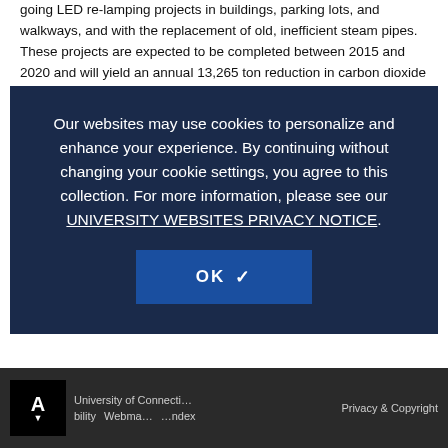going LED re-lamping projects in buildings, parking lots, and walkways, and with the replacement of old, inefficient steam pipes. These projects are expected to be completed between 2015 and 2020 and will yield an annual 13,265 ton reduction in carbon dioxide emissions. With all of these developments, UConn continues to strive toward carbon neutrality and a reduction of greenhouse gas emissions in the years to come. UConn's Office of Sustainability uses the University of New Hampshire SIMAP Ca... gas information.
Our websites may use cookies to personalize and enhance your experience. By continuing without changing your cookie settings, you agree to this collection. For more information, please see our UNIVERSITY WEBSITES PRIVACY NOTICE.
OK ✓
University of Connecticut   Privacy & Copyright   Accessibility   Webmaster   Index